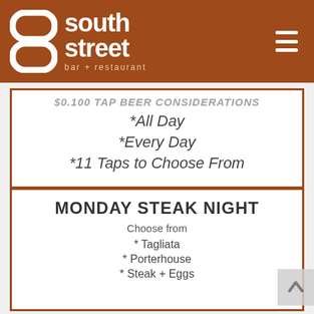[Figure (logo): South Street bar + restaurant logo with stylized S icon on brown/rust background with hamburger menu icon]
$0.100 TAP BEER CONSIDERATIONS
*All Day
*Every Day
*11 Taps to Choose From
MONDAY STEAK NIGHT
Choose from
* Tagliata
* Porterhouse
* Steak + Eggs